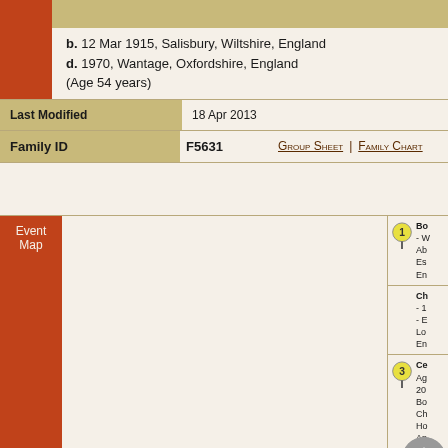b. 12 Mar 1915, Salisbury, Wiltshire, England
d. 1970, Wantage, Oxfordshire, England
(Age 54 years)
| Field | Value |
| --- | --- |
| Last Modified | 18 Apr 2013 |
| Family ID | F5631 | Group Sheet | Family Chart |
[Figure (map): Event Map showing geographic pins for birth, christening, and census events in England]
Bo
- W
Ab
Es
En
Ch
- 1
- E
Lo
En
Ce
Ag
20
Bo
Ch
Ho
Ap
Ho
No
En